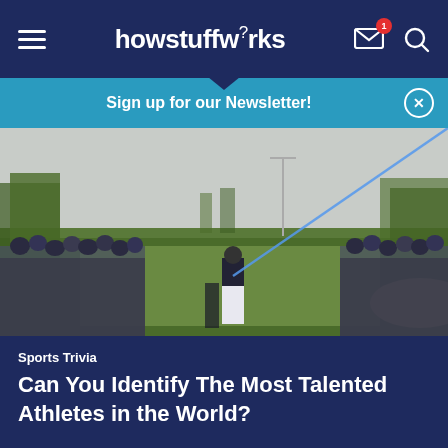howstuffworks
Sign up for our Newsletter!
[Figure (photo): A golfer mid-swing on a golf course with a large crowd of spectators watching, an overlay blue line tracing the ball trajectory, green fairway and trees in background]
Sports Trivia
Can You Identify The Most Talented Athletes in the World?